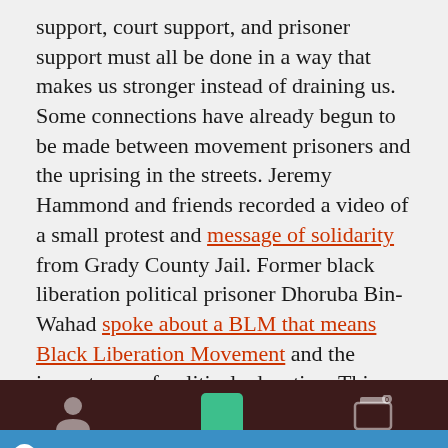support, court support, and prisoner support must all be done in a way that makes us stronger instead of draining us. Some connections have already begun to be made between movement prisoners and the uprising in the streets. Jeremy Hammond and friends recorded a video of a small protest and message of solidarity from Grady County Jail. Former black liberation political prisoner Dhoruba Bin-Wahad spoke about a BLM that means Black Liberation Movement and the importance of political education. This year, we seek to deepen the connection
On February 1, 2021, Our Online-Shop will be closed. All orders until January 31 will be delivered
Dismiss
We use cookies to ensure that we give you the best experience on our website. If you continue to use this site we will assume that you are happy with it.